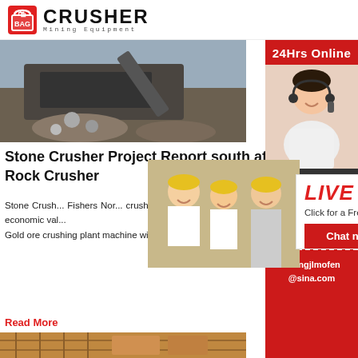[Figure (logo): Crusher Mining Equipment logo with red shopping bag icon and bold CRUSHER text]
[Figure (photo): Mining crusher machine processing rock/stone aggregate]
Stone Crusher Project Report south africa Rock Crusher
Stone Crusher ... Fishers Nor... crusher is th... mineral indu... process the raw gold ore into high economic val... Gold ore crushing plant machine will help to pro... gold ore into high economic value ...
Read More
[Figure (photo): Construction site with scaffolding and mining infrastructure]
[Figure (photo): Live Chat popup with workers in yellow hard hats and a customer service representative]
[Figure (photo): Right sidebar with 24Hrs Online label, customer service rep with headset, need questions & suggestion chat now, enquiry, and email limingjlmofen@sina.com]